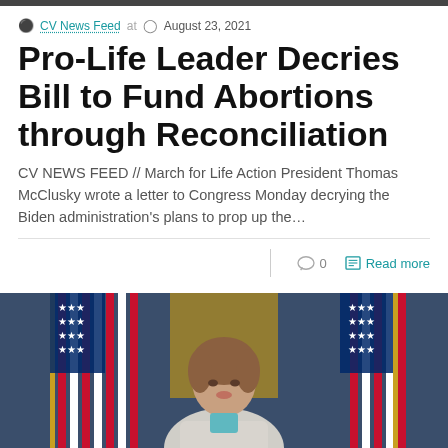CV News Feed at  August 23, 2021
Pro-Life Leader Decries Bill to Fund Abortions through Reconciliation
CV NEWS FEED // March for Life Action President Thomas McClusky wrote a letter to Congress Monday decrying the Biden administration's plans to prop up the...
0  Read more
[Figure (photo): A woman (Nancy Pelosi) speaking at a press conference with American flags in the background]